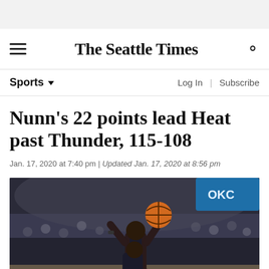The Seattle Times
Sports
Nunn's 22 points lead Heat past Thunder, 115-108
Jan. 17, 2020 at 7:40 pm | Updated Jan. 17, 2020 at 8:56 pm
[Figure (photo): Basketball player shooting the ball up in the air over a defender, with a crowd in the background in a dimly lit arena.]